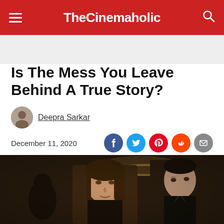TheCinemaholic
Is The Mess You Leave Behind A True Story?
Deepra Sarkar
December 11, 2020
[Figure (photo): Still from the show depicting a woman and a young man in an indoor setting with warm dim lighting]